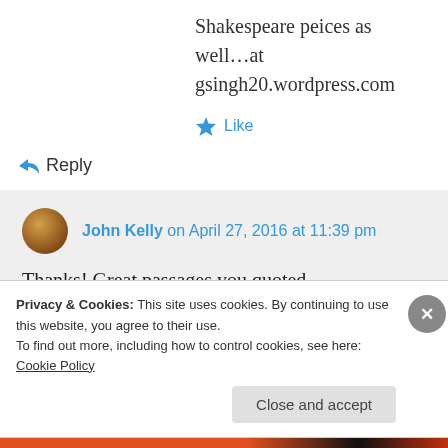Shakespeare peices as well…at gsingh20.wordpress.com
★ Like
↪ Reply
John Kelly on April 27, 2016 at 11:39 pm
Thanks! Great passages you quoted.
★ Like
Privacy & Cookies: This site uses cookies. By continuing to use this website, you agree to their use.
To find out more, including how to control cookies, see here: Cookie Policy
Close and accept